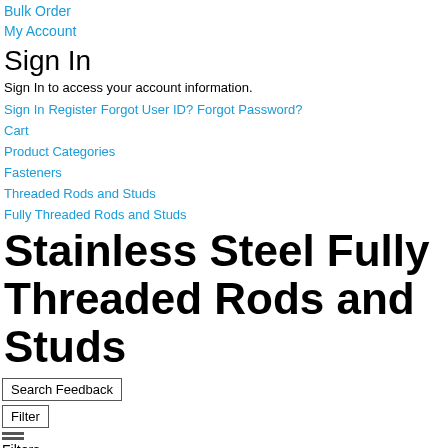Bulk Order
My Account
Sign In
Sign In to access your account information.
Sign In  Register  Forgot User ID?  Forgot Password?
Cart
Product Categories
Fasteners
Threaded Rods and Studs
Fully Threaded Rods and Studs
Stainless Steel Fully Threaded Rods and Studs
Search Feedback
Filter
Filters
Done
Previously Purchased
Sign in to view purchased products